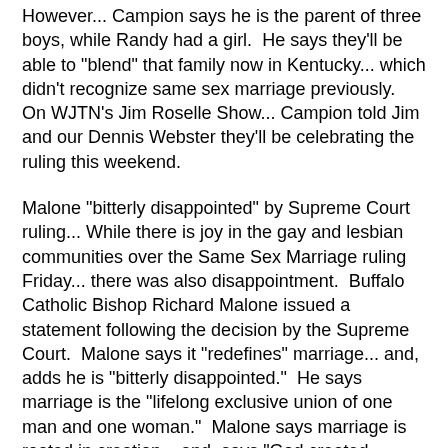However... Campion says he is the parent of three boys, while Randy had a girl.  He says they'll be able to "blend" that family now in Kentucky... which didn't recognize same sex marriage previously.  On WJTN's Jim Roselle Show... Campion told Jim and our Dennis Webster they'll be celebrating the ruling this weekend.
Malone "bitterly disappointed" by Supreme Court ruling... While there is joy in the gay and lesbian communities over the Same Sex Marriage ruling Friday... there was also disappointment.  Buffalo Catholic Bishop Richard Malone issued a statement following the decision by the Supreme Court.  Malone says it "redefines" marriage... and, adds he is "bitterly disappointed."  He says marriage is the "lifelong exclusive union of one man and one woman."  Malone says marriage is rooted in creation... and, says "God created marriage in the very same breath as He created the human person."